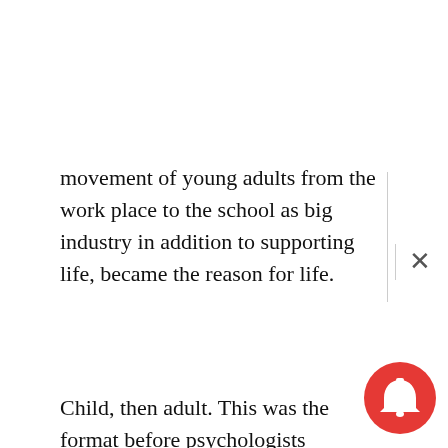movement of young adults from the work place to the school as big industry in addition to supporting life, became the reason for life.
Child, then adult. This was the format before psychologists decided to carve out a stage between puberty and adulthood when the child was not yet defined as a social adult, though biologically one. Prior to this and what obtains still in rural areas all over the world, the minute the boy or girl hits biological puberty, his or her skills and social development is tested with ‘rite-of-passage,’ or ‘coming-of-age,’ physical and mental capacity determining cultural functions. Bull jumping, braving whipping and other methods were employed to test his or her mental readiness and physical adulthood. In Jewish